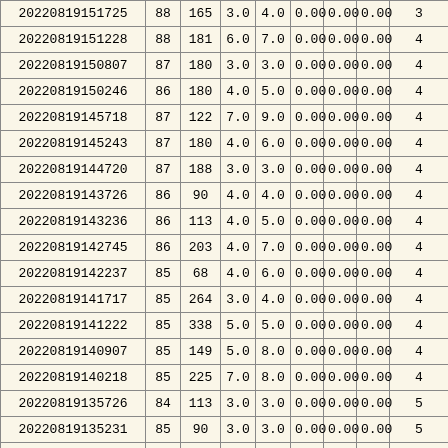| 20220819151725 | 88 | 165 | 3.0 | 4.0 | 0.00 | 0.00 | 0.00 | 3 |
| 20220819151228 | 88 | 181 | 6.0 | 7.0 | 0.00 | 0.00 | 0.00 | 4 |
| 20220819150807 | 87 | 180 | 3.0 | 3.0 | 0.00 | 0.00 | 0.00 | 4 |
| 20220819150246 | 86 | 180 | 4.0 | 5.0 | 0.00 | 0.00 | 0.00 | 4 |
| 20220819145718 | 87 | 122 | 7.0 | 9.0 | 0.00 | 0.00 | 0.00 | 4 |
| 20220819145243 | 87 | 180 | 4.0 | 6.0 | 0.00 | 0.00 | 0.00 | 4 |
| 20220819144720 | 87 | 188 | 3.0 | 3.0 | 0.00 | 0.00 | 0.00 | 4 |
| 20220819143726 | 86 | 90 | 4.0 | 4.0 | 0.00 | 0.00 | 0.00 | 4 |
| 20220819143236 | 86 | 113 | 4.0 | 5.0 | 0.00 | 0.00 | 0.00 | 4 |
| 20220819142745 | 86 | 203 | 4.0 | 7.0 | 0.00 | 0.00 | 0.00 | 4 |
| 20220819142237 | 85 | 68 | 4.0 | 6.0 | 0.00 | 0.00 | 0.00 | 4 |
| 20220819141717 | 85 | 264 | 3.0 | 4.0 | 0.00 | 0.00 | 0.00 | 4 |
| 20220819141222 | 85 | 338 | 5.0 | 5.0 | 0.00 | 0.00 | 0.00 | 4 |
| 20220819140907 | 85 | 149 | 5.0 | 8.0 | 0.00 | 0.00 | 0.00 | 4 |
| 20220819140218 | 85 | 225 | 7.0 | 8.0 | 0.00 | 0.00 | 0.00 | 4 |
| 20220819135726 | 84 | 113 | 3.0 | 3.0 | 0.00 | 0.00 | 0.00 | 5 |
| 20220819135231 | 85 | 90 | 3.0 | 3.0 | 0.00 | 0.00 | 0.00 | 5 |
| 20220819134741 | 84 | 225 | 4.0 | 6.0 | 0.00 | 0.00 | 0.00 | 5 |
| 20220819134249 | 84 | 225 | 3.0 | 3.0 | 0.00 | 0.00 | 0.00 | 5 |